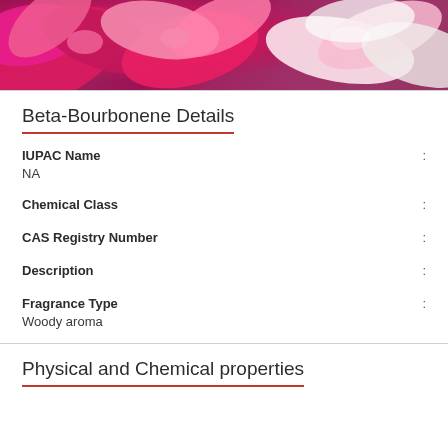[Figure (photo): Close-up photo of vibrant pink and red plumeria/frangipani flowers with white accents]
Beta-Bourbonene Details
IUPAC Name :
NA
Chemical Class :
CAS Registry Number :
Description :
Fragrance Type :
Woody aroma
Physical and Chemical properties